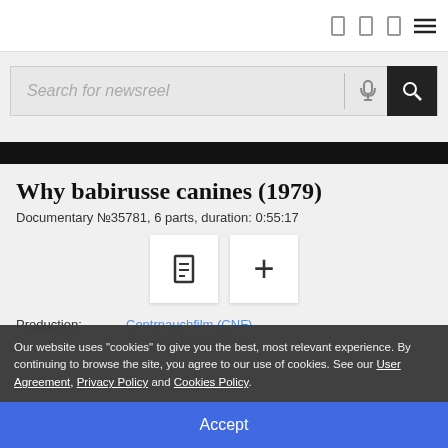Navigation bar with icons and hamburger menu
Search for newsreel
Why babirusse canines (1979)
Documentary №35781, 6 parts, duration: 0:55:17
Production: Centrnauchfilm (CNF)
Zаïlеm аnd Klimtsell
Our website uses "cookies" to give you the best, most relevant experience. By continuing to browse the site, you agree to our use of cookies. See our User Agreement, Privacy Policy and Cookies Policy.
Accept